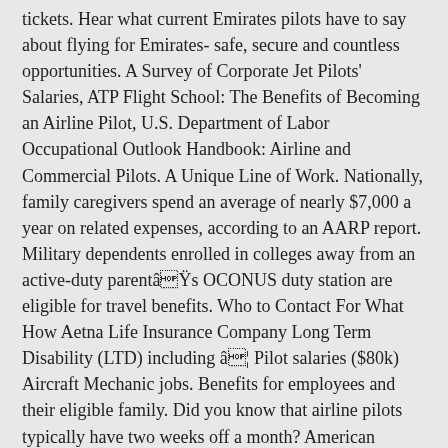tickets. Hear what current Emirates pilots have to say about flying for Emirates- safe, secure and countless opportunities. A Survey of Corporate Jet Pilots' Salaries, ATP Flight School: The Benefits of Becoming an Airline Pilot, U.S. Department of Labor Occupational Outlook Handbook: Airline and Commercial Pilots. A Unique Line of Work. Nationally, family caregivers spend an average of nearly $7,000 a year on related expenses, according to an AARP report. Military dependents enrolled in colleges away from an active-duty parentâs OCONUS duty station are eligible for travel benefits. Who to Contact For What How Aetna Life Insurance Company Long Term Disability (LTD) including â¦ Pilot salaries ($80k) Aircraft Mechanic jobs. Benefits for employees and their eligible family. Did you know that airline pilots typically have two weeks off a month? American Airlines provides you with a comprehensive benefits package designed to help you meet the health and insurance needs of you and your eligible family members. How Much Money Do Pilots Get Paid Every Year? From our top-rated pilot training to our leading captain upgrade times, Mesa’s goal is your success. Why You're More Likely To Have An Engine Fire This Fall, This Wintertime Illusion Can Cause Accidents On A VFR Day. Community Benefits - People who come from supportive and stable families often contribute to the greater community and create stronger neighborhoods and families as a